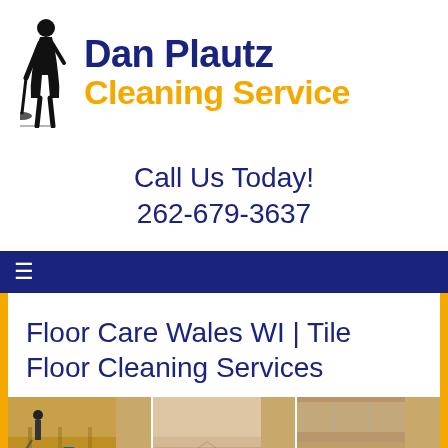[Figure (logo): Dan Plautz Cleaning Service logo with person mopping silhouette, 'Dan Plautz' in dark navy bold and 'Cleaning Service' in gold bold]
Call Us Today!
262-679-3637
≡
Floor Care Wales WI | Tile Floor Cleaning Services
[Figure (photo): Photo strip showing multiple images of cleaned floors in various commercial buildings including gymnasium and cafeteria]